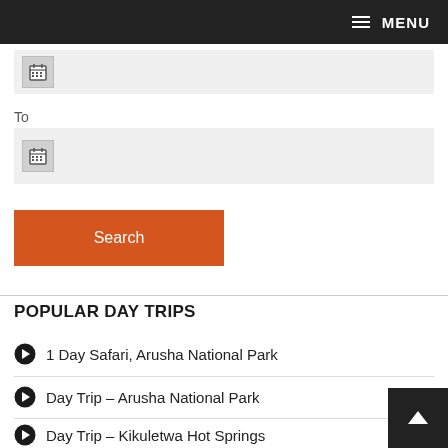MENU
[Figure (screenshot): Date input field with calendar icon (From)]
To
[Figure (screenshot): Date input field with calendar icon (To)]
Search
POPULAR DAY TRIPS
1 Day Safari, Arusha National Park
Day Trip – Arusha National Park
Day Trip – Kikuletwa Hot Springs